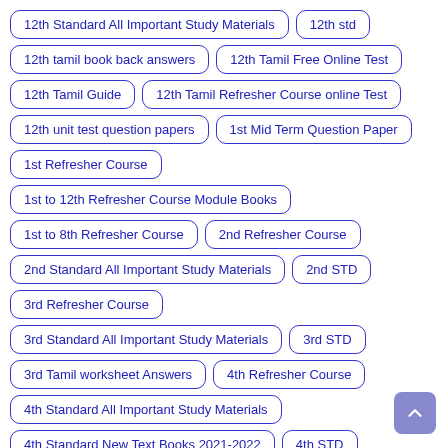12th Standard All Important Study Materials
12th std
12th tamil book back answers
12th Tamil Free Online Test
12th Tamil Guide
12th Tamil Refresher Course online Test
12th unit test question papers
1st Mid Term Question Paper
1st Refresher Course
1st to 12th Refresher Course Module Books
1st to 8th Refresher Course
2nd Refresher Course
2nd Standard All Important Study Materials
2nd STD
3rd Refresher Course
3rd Standard All Important Study Materials
3rd STD
3rd Tamil worksheet Answers
4th Refresher Course
4th Standard All Important Study Materials
4th Standard New Text Books 2021-2022
4th STD